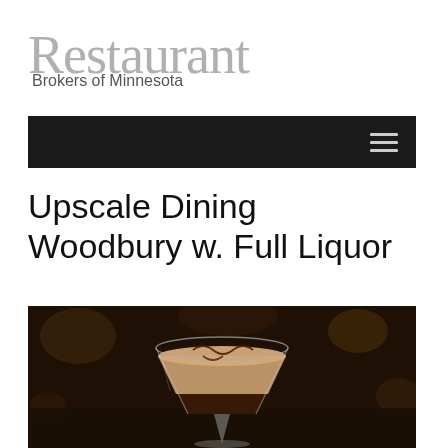Restaurant Brokers of Minnesota
Navigation menu
Upscale Dining Woodbury w. Full Liquor
[Figure (photo): A martini glass with a layered cream and dark chocolate cocktail, topped with a chocolate drizzle in a heart/swirl pattern, on a dark background.]